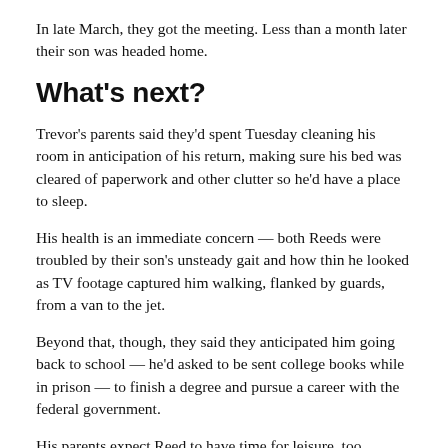In late March, they got the meeting. Less than a month later their son was headed home.
What's next?
Trevor's parents said they'd spent Tuesday cleaning his room in anticipation of his return, making sure his bed was cleared of paperwork and other clutter so he'd have a place to sleep.
His health is an immediate concern — both Reeds were troubled by their son's unsteady gait and how thin he looked as TV footage captured him walking, flanked by guards, from a van to the jet.
Beyond that, though, they said they anticipated him going back to school — he'd asked to be sent college books while in prison — to finish a degree and pursue a career with the federal government.
His parents expect Reed to have time for leisure, too. Assuming he reacquires a driver's license that had expired